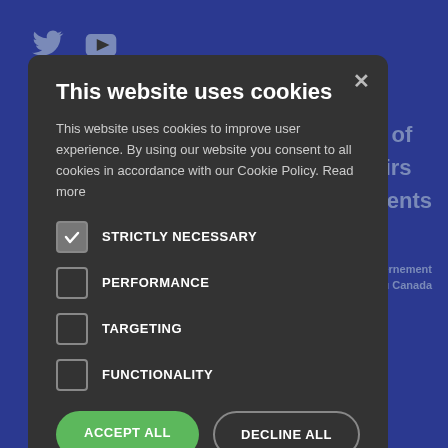[Figure (screenshot): Dark blue background with Twitter and YouTube social media icons in the top left]
l support of
obal Affairs
/ Investments
Gouvernement
du Canada
This website uses cookies
This website uses cookies to improve user experience. By using our website you consent to all cookies in accordance with our Cookie Policy. Read more
STRICTLY NECESSARY
PERFORMANCE
TARGETING
FUNCTIONALITY
ACCEPT ALL
DECLINE ALL
SHOW DETAILS